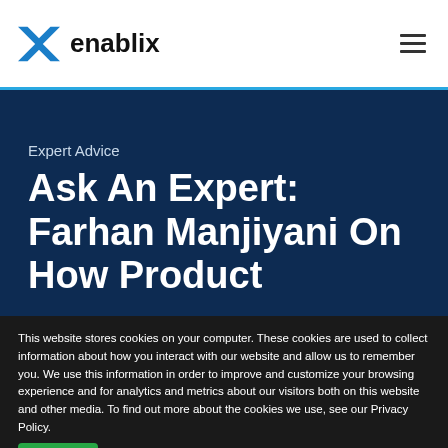enablix
Expert Advice
Ask An Expert: Farhan Manjiyani On How Product
This website stores cookies on your computer. These cookies are used to collect information about how you interact with our website and allow us to remember you. We use this information in order to improve and customize your browsing experience and for analytics and metrics about our visitors both on this website and other media. To find out more about the cookies we use, see our Privacy Policy.
Accept | Don't ask me again